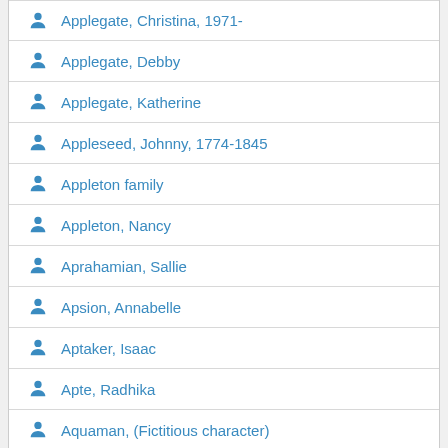Applegate, Christina, 1971-
Applegate, Debby
Applegate, Katherine
Appleseed, Johnny, 1774-1845
Appleton family
Appleton, Nancy
Aprahamian, Sallie
Apsion, Annabelle
Aptaker, Isaac
Apte, Radhika
Aquaman, (Fictitious character)